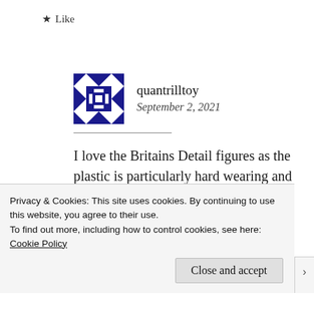★ Like
[Figure (illustration): Blue geometric snowflake/quilt pattern avatar icon for user quantrilltoy]
quantrilltoy
September 2, 2021
I love the Britains Detail figures as the plastic is particularly hard wearing and does not suffer from brittleness that many other old plastics endure
Privacy & Cookies: This site uses cookies. By continuing to use this website, you agree to their use.
To find out more, including how to control cookies, see here:
Cookie Policy
Close and accept